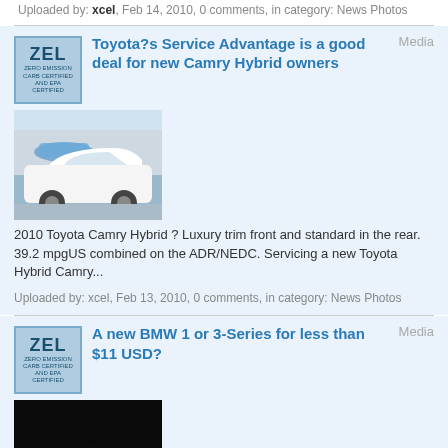Uploaded by: xcel, Feb 14, 2010, 0 comments, in category: News Photos
Toyota?s Service Advantage is a good deal for new Camry Hybrid owners
[Figure (photo): 2010 Toyota Camry Hybrid white car in parking lot]
2010 Toyota Camry Hybrid ? Luxury trim front and standard in the rear. 39.2 mpgUS combined on the ADR/NEDC. Servicing a new Toyota Hybrid Camry...
Uploaded by: xcel, Feb 13, 2010, 0 comments, in category: News Photos
A new BMW 1 or 3-Series for less than $11 USD?
[Figure (photo): 2010 BMW 116d dark colored car, rear/side view]
2010 BMW 116d ? 53.5 mpgUS combined on the NEDC. BMW has teamed up with Streetcar, the UK?s largest car club, to give people the chance to...